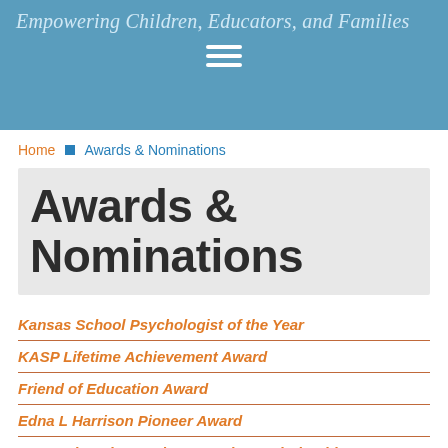Empowering Children, Educators, and Families
Home > Awards & Nominations
Awards & Nominations
Kansas School Psychologist of the Year
KASP Lifetime Achievement Award
Friend of Education Award
Edna L Harrison Pioneer Award
KASP Diversity Graduate Student Scholarship
KASP Action Research Grant
The links to each of these forms are active year-round. To be eligible for any given